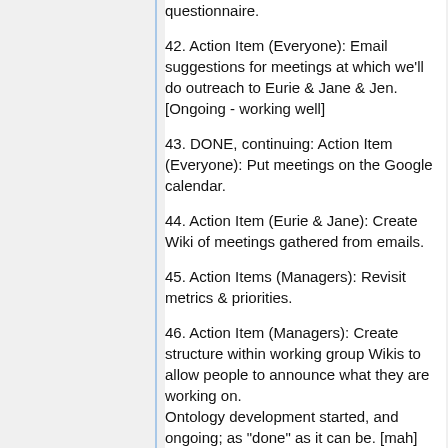questionnaire.
42. Action Item (Everyone): Email suggestions for meetings at which we'll do outreach to Eurie & Jane & Jen. [Ongoing - working well]
43. DONE, continuing: Action Item (Everyone): Put meetings on the Google calendar.
44. Action Item (Eurie & Jane): Create Wiki of meetings gathered from emails.
45. Action Items (Managers): Revisit metrics & priorities.
46. Action Item (Managers): Create structure within working group Wikis to allow people to announce what they are working on. Ontology development started, and ongoing; as "done" as it can be. [mah]